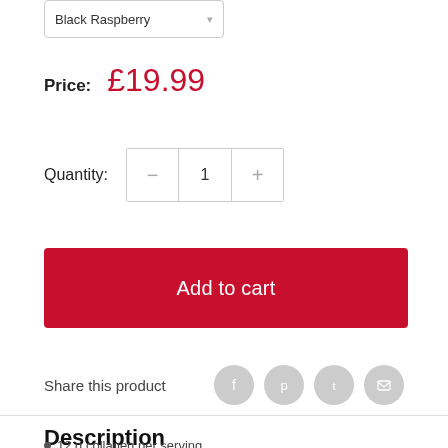Black Raspberry
Price: £19.99
Quantity: 1
Add to cart
Share this product
Description
12 g collagen per serving